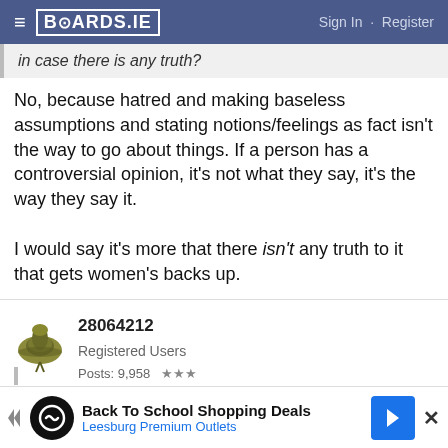≡ BOARDS.IE   Sign In · Register
in case there is any truth?
No, because hatred and making baseless assumptions and stating notions/feelings as fact isn't the way to go about things. If a person has a controversial opinion, it's not what they say, it's the way they say it.

I would say it's more that there isn't any truth to it that gets women's backs up.
28064212
Registered Users
Posts: 9,958 ★★★
09-09-2013 7:12pm
Back To School Shopping Deals
Leesburg Premium Outlets